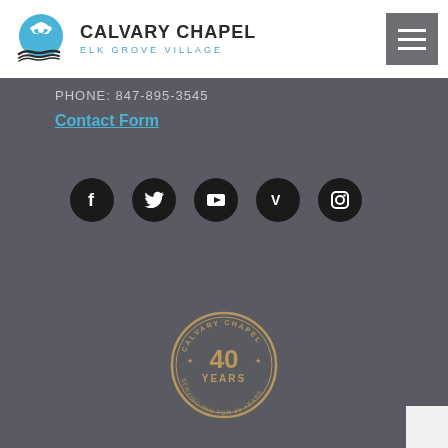[Figure (logo): Calvary Chapel Elk Grove Village logo with circular dove/book icon and text]
[Figure (illustration): Hamburger menu button (three horizontal lines) on gray background]
PHONE:  847-895-3545
Contact Form
[Figure (illustration): Social media icons row: Facebook, Twitter, YouTube, Vimeo, Instagram — black circles with white icons]
[Figure (logo): Calvary Chapel 40 Years — Serving Him For 40 Years circular anniversary badge in gold/tan on gray background]